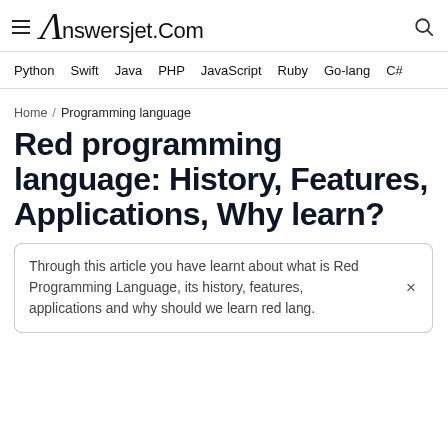Answersjet.Com
Python  Swift  Java  PHP  JavaScript  Ruby  Go-lang  C#
Home / Programming language
Red programming language: History, Features, Applications, Why learn?
Through this article you have learnt about what is Red Programming Language, its history, features, applications and why should we learn red lang.